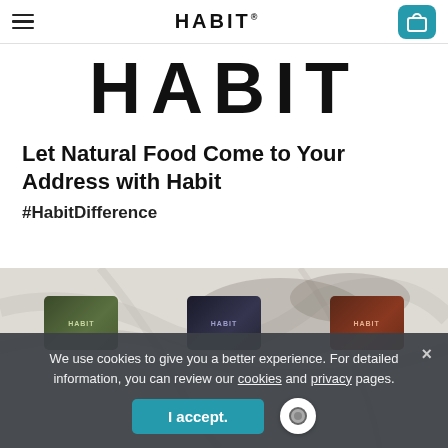HABIT
[Figure (logo): Large HABIT logo text in bold black serif-style letters on white background]
Let Natural Food Come to Your Address with Habit
#HabitDifference
[Figure (photo): Marble surface background with Habit product packages and natural food items visible at bottom]
We use cookies to give you a better experience. For detailed information, you can review our cookies and privacy pages.
I accept.